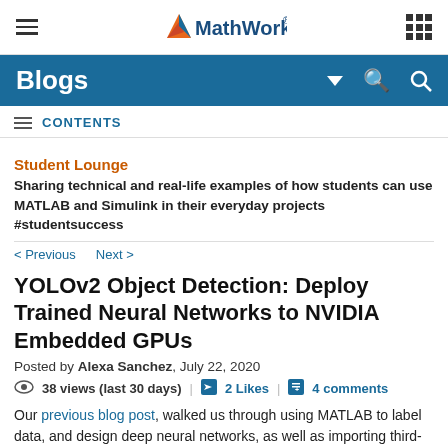MathWorks® — navigation bar with hamburger menu and grid icon
Blogs
≡ CONTENTS
Student Lounge
Sharing technical and real-life examples of how students can use MATLAB and Simulink in their everyday projects #studentsuccess
< Previous   Next >
YOLOv2 Object Detection: Deploy Trained Neural Networks to NVIDIA Embedded GPUs
Posted by Alexa Sanchez, July 22, 2020
38 views (last 30 days) | 2 Likes | 4 comments
Our previous blog post, walked us through using MATLAB to label data, and design deep neural networks, as well as importing third-party pre-trained networks. We trained a